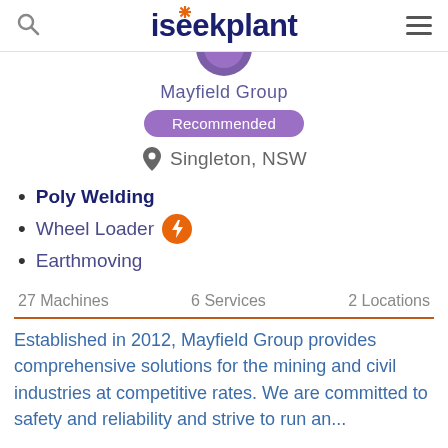iseekplant
[Figure (logo): Partial purple circular logo for Mayfield Group, cropped at top]
Mayfield Group
Recommended
Singleton, NSW
Poly Welding
Wheel Loader
Earthmoving
27 Machines   6 Services   2 Locations
Established in 2012, Mayfield Group provides comprehensive solutions for the mining and civil industries at competitive rates. We are committed to safety and reliability and strive to run an...